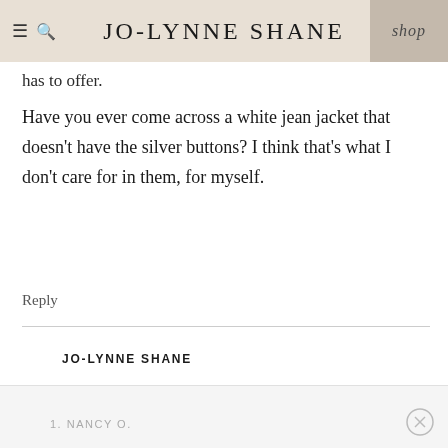JO-LYNNE SHANE | shop
has to offer.
Have you ever come across a white jean jacket that doesn’t have the silver buttons?  I think that’s what I don’t care for in them, for myself.
Reply
JO-LYNNE SHANE
Hm, I’ll have to keep an eye out!
Reply
1. NANCY O.